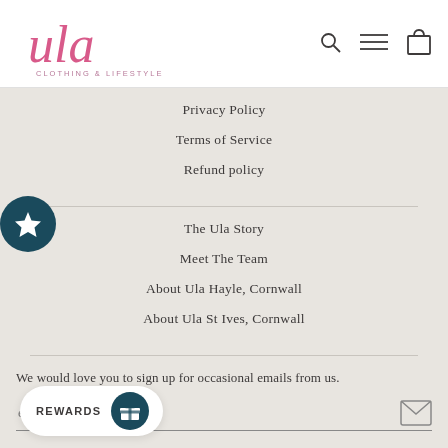[Figure (logo): Ula Clothing & Lifestyle logo in pink script font with nav icons]
Privacy Policy
Terms of Service
Refund policy
The Ula Story
Meet The Team
About Ula Hayle, Cornwall
About Ula St Ives, Cornwall
We would love you to sign up for occasional emails from us.
REWARDS